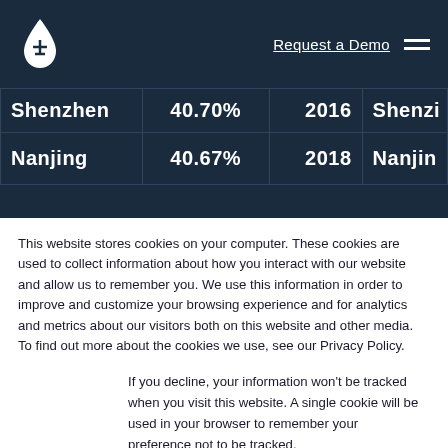Request a Demo  ≡
| Shenzhen | 40.70% | 2016 | Shenzi |
| Nanjing | 40.67% | 2018 | Nanjin |
This website stores cookies on your computer. These cookies are used to collect information about how you interact with our website and allow us to remember you. We use this information in order to improve and customize your browsing experience and for analytics and metrics about our visitors both on this website and other media. To find out more about the cookies we use, see our Privacy Policy.
If you decline, your information won't be tracked when you visit this website. A single cookie will be used in your browser to remember your preference not to be tracked.